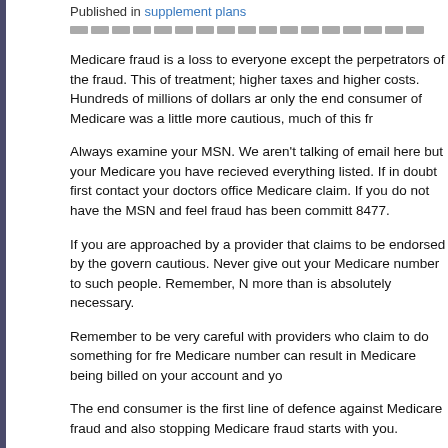Published in supplement plans
Medicare fraud is a loss to everyone except the perpetrators of the fraud. This of treatment; higher taxes and higher costs. Hundreds of millions of dollars ar only the end consumer of Medicare was a little more cautious, much of this fr
Always examine your MSN. We aren't talking of email here but your Medicare you have recieved everything listed. If in doubt first contact your doctors office Medicare claim. If you do not have the MSN and feel fraud has been committ 8477.
If you are approached by a provider that claims to be endorsed by the govern cautious. Never give out your Medicare number to such people. Remember, N more than is absolutely necessary.
Remember to be very careful with providers who claim to do something for fre Medicare number can result in Medicare being billed on your account and yo
The end consumer is the first line of defence against Medicare fraud and also stopping Medicare fraud starts with you.